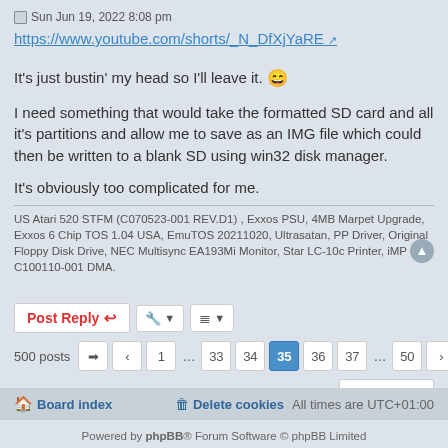Sun Jun 19, 2022 8:08 pm
https://www.youtube.com/shorts/_N_DfXjYaRE
It's just bustin' my head so I'll leave it. 😄
I need something that would take the formatted SD card and all it's partitions and allow me to save as an IMG file which could then be written to a blank SD using win32 disk manager.
It's obviously too complicated for me.
US Atari 520 STFM (C070523-001 REV.D1) , Exxos PSU, 4MB Marpet Upgrade, Exxos 6 Chip TOS 1.04 USA, EmuTOS 20211020, Ultrasatan, PP Driver, Original Floppy Disk Drive, NEC Multisync EA193Mi Monitor, Star LC-10c Printer, iMP C100110-001 DMA.
Board index | Delete cookies | All times are UTC+01:00 | Powered by phpBB® Forum Software © phpBB Limited